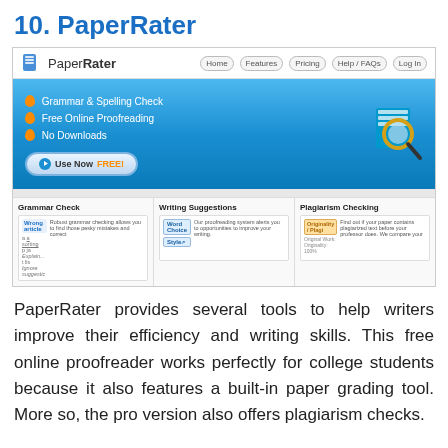10. PaperRater
[Figure (screenshot): Screenshot of the PaperRater website showing navigation bar with Home, Features, Pricing, Help/FAQs, Log In buttons, a blue hero banner with Grammar & Spelling Check, Free Online Proofreading, No Downloads features and a Use Now FREE! button, a magnifying glass icon over a book, and three feature panels: Grammar Check, Writing Suggestions, Plagiarism Checking.]
PaperRater provides several tools to help writers improve their efficiency and writing skills. This free online proofreader works perfectly for college students because it also features a built-in paper grading tool. More so, the pro version also offers plagiarism checks.